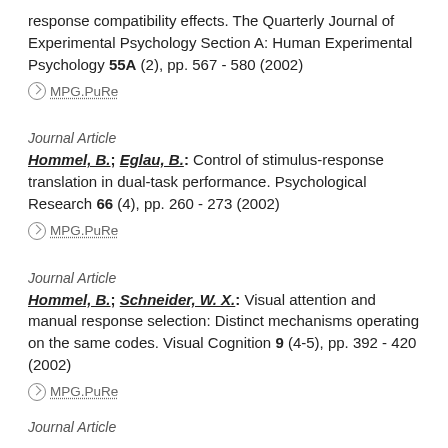response compatibility effects. The Quarterly Journal of Experimental Psychology Section A: Human Experimental Psychology 55A (2), pp. 567 - 580 (2002)
⊙ MPG.PuRe
Journal Article
Hommel, B.; Eglau, B.: Control of stimulus-response translation in dual-task performance. Psychological Research 66 (4), pp. 260 - 273 (2002)
⊙ MPG.PuRe
Journal Article
Hommel, B.; Schneider, W. X.: Visual attention and manual response selection: Distinct mechanisms operating on the same codes. Visual Cognition 9 (4-5), pp. 392 - 420 (2002)
⊙ MPG.PuRe
Journal Article